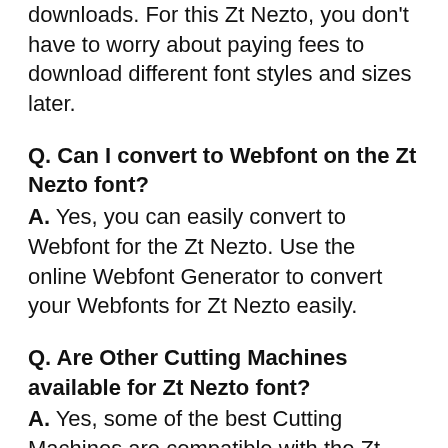downloads. For this Zt Nezto, you don't have to worry about paying fees to download different font styles and sizes later.
Q. Can I convert to Webfont on the Zt Nezto font?
A. Yes, you can easily convert to Webfont for the Zt Nezto. Use the online Webfont Generator to convert your Webfonts for Zt Nezto easily.
Q. Are Other Cutting Machines available for Zt Nezto font?
A. Yes, some of the best Cutting Machines are compatible with the Zt Nezto font.
Q. Is there any installation fee for the Zt